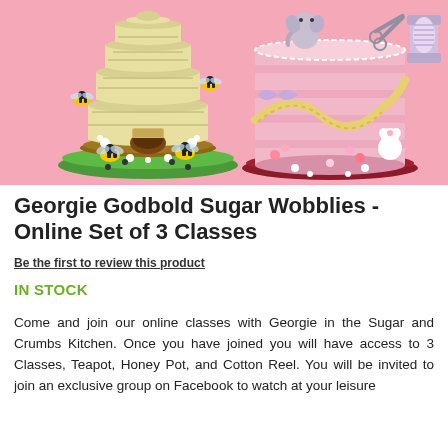[Figure (photo): Photo of decorative sugar cakes against a pink background: a beehive cake with bee figurines on the left, and a sewing-themed pink cake with teddy bear figurines on the right.]
Georgie Godbold Sugar Wobblies - Online Set of 3 Classes
Be the first to review this product
IN STOCK
Come and join our online classes with Georgie in the Sugar and Crumbs Kitchen. Once you have joined you will have access to 3 Classes, Teapot, Honey Pot, and Cotton Reel. You will be invited to join an exclusive group on Facebook to watch at your leisure